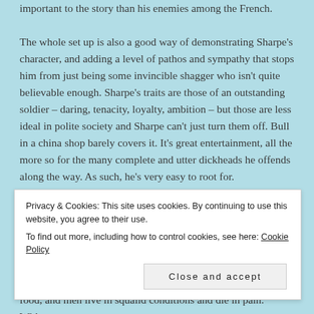important to the story than his enemies among the French.
The whole set up is also a good way of demonstrating Sharpe's character, and adding a level of pathos and sympathy that stops him from just being some invincible shagger who isn't quite believable enough. Sharpe's traits are those of an outstanding soldier – daring, tenacity, loyalty, ambition – but those are less ideal in polite society and Sharpe can't just turn them off. Bull in a china shop barely covers it. It's great entertainment, all the more so for the many complete and utter dickheads he offends along the way. As such, he's very easy to root for.
In general, the whole balance of glamourous adventure and gritty
Privacy & Cookies: This site uses cookies. By continuing to use this website, you agree to their use.
To find out more, including how to control cookies, see here: Cookie Policy
Close and accept
food, and men live in squalid conditions and die in pain. Without